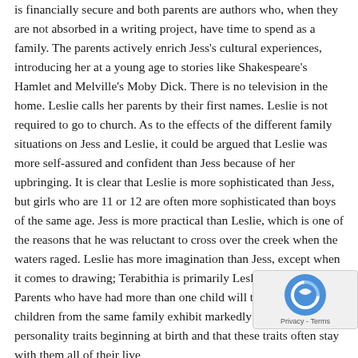is financially secure and both parents are authors who, when they are not absorbed in a writing project, have time to spend as a family. The parents actively enrich Jess's cultural experiences, introducing her at a young age to stories like Shakespeare's Hamlet and Melville's Moby Dick. There is no television in the home. Leslie calls her parents by their first names. Leslie is not required to go to church. As to the effects of the different family situations on Jess and Leslie, it could be argued that Leslie was more self-assured and confident than Jess because of her upbringing. It is clear that Leslie is more sophisticated than Jess, but girls who are 11 or 12 are often more sophisticated than boys of the same age. Jess is more practical than Leslie, which is one of the reasons that he was reluctant to cross over the creek when the waters raged. Leslie has more imagination than Jess, except when it comes to drawing; Terabithia is primarily Leslie's invention. Parents who have had more than one child will tell you that children from the same family exhibit markedly different personality traits beginning at birth and that these traits often stay with them all of their lives. in-born personality can, of course, be affected by that children are raised and by situations they exp in life. This is the old nature vs. nurture argument. The